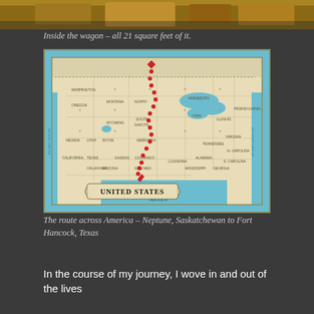[Figure (photo): Photo of the inside of a wagon, warm brown tones]
Inside the wagon – all 21 square feet of it.
[Figure (map): Vintage map of the United States showing a route marked with red dotted line from Neptune, Saskatchewan (Canada, top) south through the central US to Fort Hancock, Texas (bottom). A red diamond marks the starting point in the north. The map is labeled 'UNITED STATES' in a decorative banner and shows 'Gulf of Mexico' in cursive.]
The route across America – Neptune, Saskatchewan to Fort Hancock, Texas
In the course of my journey, I wove in and out of the lives of hundreds of fellow travellers with lots of the same